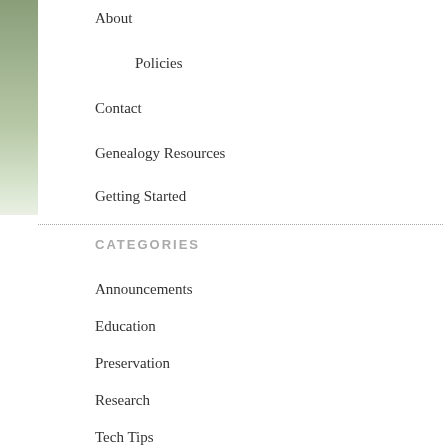About
Policies
Contact
Genealogy Resources
Getting Started
Shop
CATEGORIES
Announcements
Education
Preservation
Research
Tech Tips
Technology